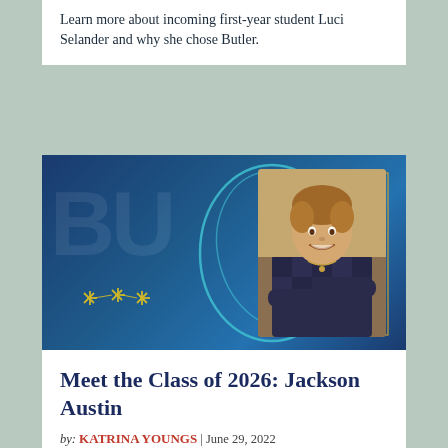Learn more about incoming first-year student Luci Selander and why she chose Butler.
[Figure (photo): Promotional photo card with blue Butler University background. A smiling young man with crossed arms wearing a checkered dark blue shirt stands in front of a sandy/rocky background. The photo is overlaid with teal swirl decorations and a gold rectangular border. The Butler 'BU' letters appear faintly in the background. A yellow star-like signature mark appears in the lower left.]
Meet the Class of 2026: Jackson Austin
by: Katrina Youngs | June 29, 2022